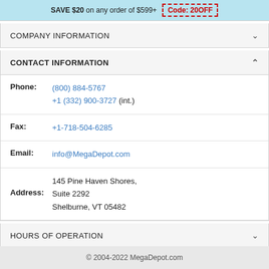SAVE $20 on any order of $599+  Code: 20OFF
COMPANY INFORMATION
CONTACT INFORMATION
Phone: (800) 884-5767  +1 (332) 900-3727 (int.)
Fax: +1-718-504-6285
Email: info@MegaDepot.com
Address: 145 Pine Haven Shores, Suite 2292 Shelburne, VT 05482
HOURS OF OPERATION
© 2004-2022 MegaDepot.com